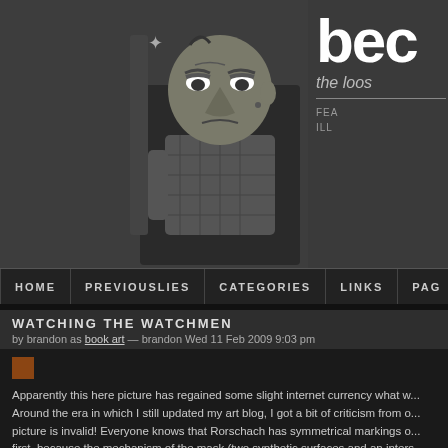[Figure (illustration): Cartoon character illustration of a grumpy-looking man seated, on a dark gray background with a small star. Character is drawn in a stylized comic/cartoon style with dark colors.]
bec the loos
FEA ILL
HOME  PREVIOUSLIES  CATEGORIES  LINKS  PAG
WATCHING THE WATCHMEN
by brandon as book art — brandon Wed 11 Feb 2009 9:03 pm
[Figure (illustration): Small brownish-orange image thumbnail placeholder]
Apparently this here picture has regained some slight internet currency what w... Around the era in which I still updated my art blog, I got a bit of criticism from o... picture is invalid! Everyone knows that Rorschach has symmetrical markings o... first, because the mechanism of the mask (two synthetic surfaces and an inters... generated symmetrical markings about as well as your shirt generates symmet... But, I checked the book, and whoop de doo there is Rorschach with symmetric... Gibbons were making some sort of metacommentary about the iconic status of... I see where that metacommentary was going or if there was a comment behind... whatever: here is your freaking symmetrically-splattered chibi Rorschach, comi... with condiments of social disdain. Taste the bitter flavor, and recoil!